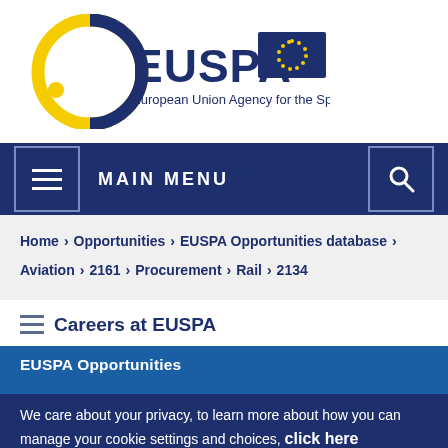[Figure (logo): EUSPA logo — European Union Agency for the Space Programme, with EU flag]
MAIN MENU
Home > Opportunities > EUSPA Opportunities database > Aviation > 2161 > Procurement > Rail > 2134
Careers at EUSPA
EUSPA Opportunities
We care about your privacy, to learn more about how you can manage your cookie settings and choices, click here